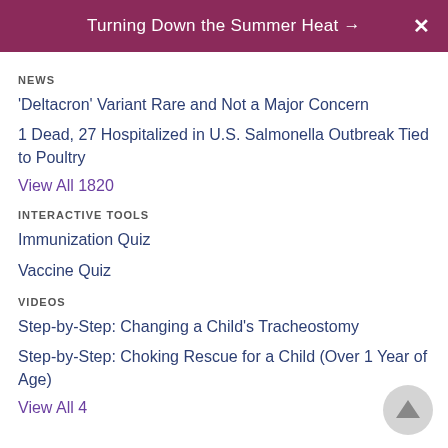Turning Down the Summer Heat →  X
NEWS
'Deltacron' Variant Rare and Not a Major Concern
1 Dead, 27 Hospitalized in U.S. Salmonella Outbreak Tied to Poultry
View All 1820
INTERACTIVE TOOLS
Immunization Quiz
Vaccine Quiz
VIDEOS
Step-by-Step: Changing a Child's Tracheostomy
Step-by-Step: Choking Rescue for a Child (Over 1 Year of Age)
View All 4